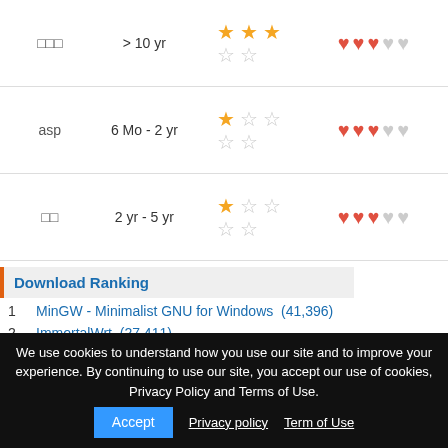| Name | Period | Stars | Hearts |
| --- | --- | --- | --- |
| □□□ | > 10 yr | 3 gold, 2 empty | 3 red, 2 empty |
| asp | 6 Mo - 2 yr | 1 gold, 4 empty | 3 red, 2 empty |
| □□ | 2 yr - 5 yr | 1 gold, 4 empty | 3 red, 2 empty |
Download Ranking
1  MinGW - Minimalist GNU for Windows  (41,396)
2  ImmortalWrt  (27,411)
3  CrystalDiskInfo  (17,601)
4  CrystalDiskMark  (10,002)
5
6
7
8  Clonezilla  (2,133)
We use cookies to understand how you use our site and to improve your experience. By continuing to use our site, you accept our use of cookies, Privacy Policy and Terms of Use.
Accept  Privacy policy  Term of Use